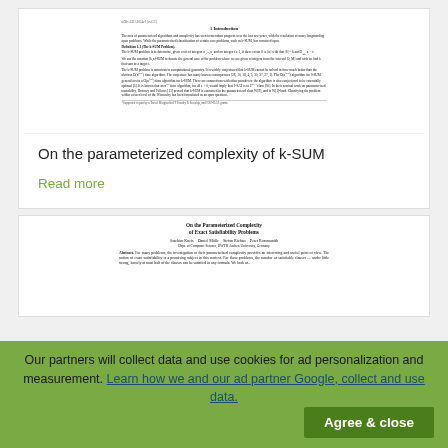[Figure (screenshot): Thumbnail of scientific paper 'On the parameterized complexity of k-SUM' showing abstract text and introduction section]
On the parameterized complexity of k-SUM
Read more
[Figure (screenshot): Thumbnail of scientific paper 'On the Parameterized Complexity of Exact Satisfiability Problems' by Joachim Kneis, Daniel Mölle, Stefan Richter, Peter Rossmanith, Dept. of Computer Science, RWTH Aachen University, Germany]
Our partners will collect data and use cookies for ad personalization and measurement. Learn how we and our ad partner Google, collect and use data.
Agree & close